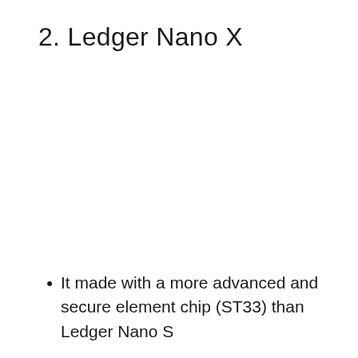2. Ledger Nano X
It made with a more advanced and secure element chip (ST33) than Ledger Nano S